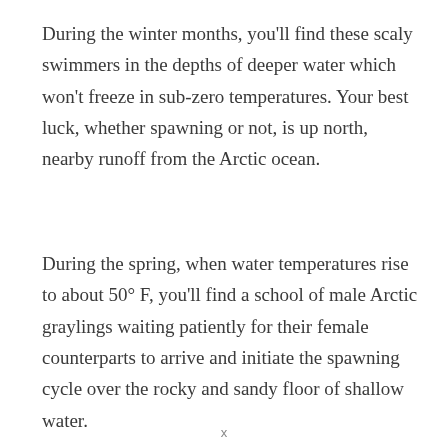During the winter months, you'll find these scaly swimmers in the depths of deeper water which won't freeze in sub-zero temperatures. Your best luck, whether spawning or not, is up north, nearby runoff from the Arctic ocean.
During the spring, when water temperatures rise to about 50° F, you'll find a school of male Arctic graylings waiting patiently for their female counterparts to arrive and initiate the spawning cycle over the rocky and sandy floor of shallow water.
x